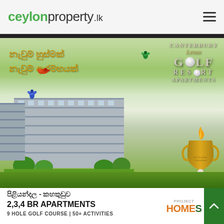ceylonproperty.lk
[Figure (photo): Canterbury Lexus Golf Resort Apartments advertisement showing a multi-story apartment building with trees, golf course greenery, an award trophy, Sinhala text, and the project branding. Bottom text reads: පිළියන්දල - කහතුඩුව, 2,3,4 BR APARTMENTS, 9 HOLE GOLF COURSE | 50+ ACTIVITIES]
පිළියන්දල - කහතුඩුව
2,3,4 BR APARTMENTS
9 HOLE GOLF COURSE | 50+ ACTIVITIES